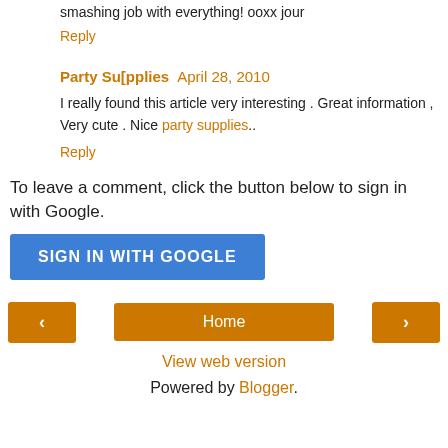smashing job with everything! ooxx jour
Reply
Party Su[pplies  April 28, 2010
I really found this article very interesting . Great information , Very cute . Nice party supplies..
Reply
To leave a comment, click the button below to sign in with Google.
[Figure (other): SIGN IN WITH GOOGLE button]
[Figure (other): Navigation bar with left arrow, Home button, right arrow]
View web version
Powered by Blogger.